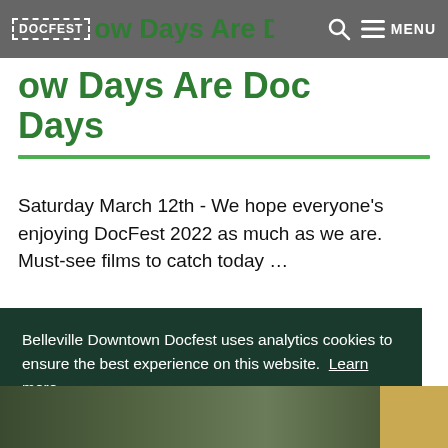DOCFEST  MENU
…ow Days Are Doc Days
Saturday March 12th - We hope everyone's enjoying DocFest 2022 as much as we are. Must-see films to catch today …
Belleville Downtown Docfest uses analytics cookies to ensure the best experience on this website. Learn more
Decline   Allow cookies
[Figure (photo): Partial view of people/crowd photo at bottom of page]